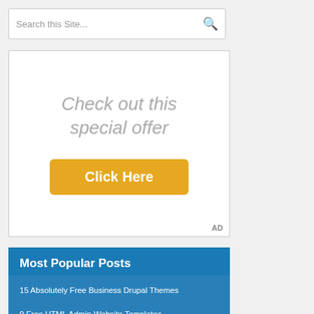Search this Site...
[Figure (other): Advertisement box with italic gray text 'Check out this special offer' and a yellow 'Click Here' button. AD label in bottom right corner.]
Most Popular Posts
15 Absolutely Free Business Drupal Themes
9 Free HTML Admin Website Templates